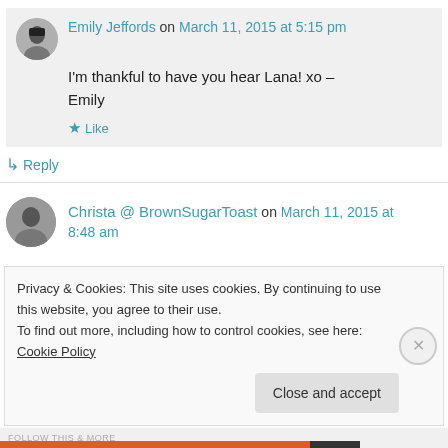Emily Jeffords on March 11, 2015 at 5:15 pm
I'm thankful to have you hear Lana! xo – Emily
★ Like
↳ Reply
Christa @ BrownSugarToast on March 11, 2015 at 8:48 am
Privacy & Cookies: This site uses cookies. By continuing to use this website, you agree to their use. To find out more, including how to control cookies, see here: Cookie Policy
Close and accept